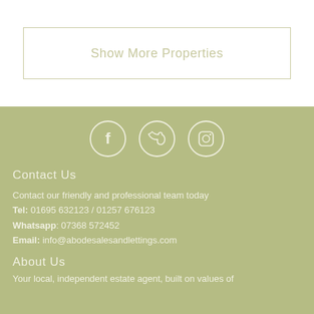Show More Properties
[Figure (illustration): Three social media icon circles (Facebook, Twitter, Instagram) on an olive/sage green background]
Contact Us
Contact our friendly and professional team today
Tel: 01695 632123 / 01257 676123
Whatsapp: 07368 572452
Email: info@abodesalesandlettings.com
About Us
Your local, independent estate agent, built on values of